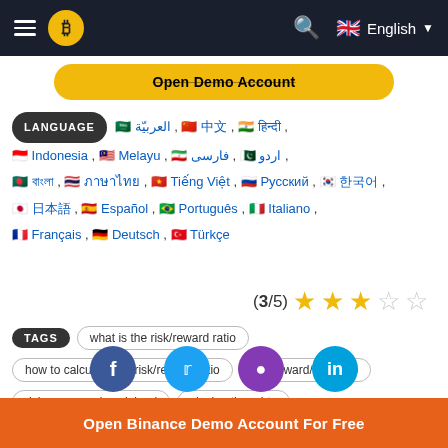Binance navigation bar with hamburger menu, Bitcoin logo, search icon, English language selector
Open Demo Account
LANGUAGE العربيّة , 中文 , हिन्दी , Indonesia , Melayu , فارسی , اردو , বাংলা , ภาษาไทย , Tiếng Việt , Русский , 한국어 , 日本語 , Español , Português , Italiano , Français , Deutsch , Türkçe
(3/5) ★★★☆☆
TAGS what is the risk/reward ratio   how to calculate the risk/reward ratio   the reward/risk ratio   risk vs. reward explained   closing thoughts
[Figure (other): Partial social media sharing icons: Facebook, Twitter, Instagram, LinkedIn]
Open Binance Demo Account For Free